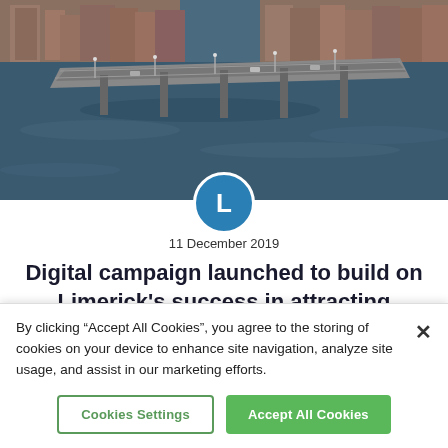[Figure (photo): Aerial photograph of Limerick city showing a bridge over a river with urban buildings in the background and water in the foreground]
11 December 2019
Digital campaign launched to build on Limerick’s success in attracting conferences
BUSINESS   BUSINESS BULLETIN   CONFERENCES
By clicking “Accept All Cookies”, you agree to the storing of cookies on your device to enhance site navigation, analyze site usage, and assist in our marketing efforts.